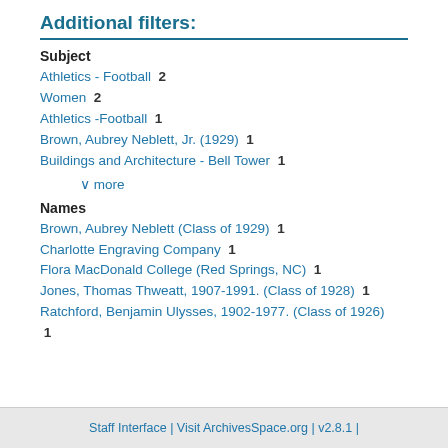Additional filters:
Subject
Athletics - Football  2
Women  2
Athletics -Football  1
Brown, Aubrey Neblett, Jr. (1929)  1
Buildings and Architecture - Bell Tower  1
∨ more
Names
Brown, Aubrey Neblett (Class of 1929)  1
Charlotte Engraving Company  1
Flora MacDonald College (Red Springs, NC)  1
Jones, Thomas Thweatt, 1907-1991. (Class of 1928)  1
Ratchford, Benjamin Ulysses, 1902-1977. (Class of 1926)  1
Staff Interface | Visit ArchivesSpace.org | v2.8.1 |